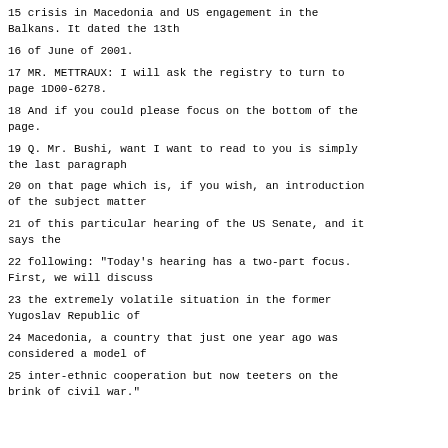15 crisis in Macedonia and US engagement in the Balkans. It dated the 13th
16 of June of 2001.
17 MR. METTRAUX: I will ask the registry to turn to page 1D00-6278.
18 And if you could please focus on the bottom of the page.
19 Q. Mr. Bushi, want I want to read to you is simply the last paragraph
20 on that page which is, if you wish, an introduction of the subject matter
21 of this particular hearing of the US Senate, and it says the
22 following: "Today's hearing has a two-part focus. First, we will discuss
23 the extremely volatile situation in the former Yugoslav Republic of
24 Macedonia, a country that just one year ago was considered a model of
25 inter-ethnic cooperation but now teeters on the brink of civil war."